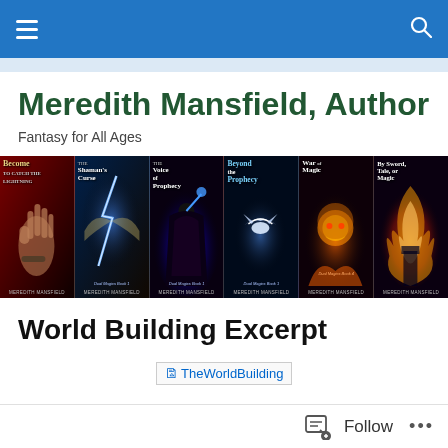Navigation bar with hamburger menu and search icon
Meredith Mansfield, Author
Fantasy for All Ages
[Figure (photo): Banner of six fantasy book covers: Become (To Catch the Lightning), The Shaman's Curse (Dual Magics Book 1), The Voice of Prophecy (Dual Magics Book 1), Beyond the Prophecy (Dual Magics Book 1), War of Magic (Dual Magics Book 4), By Sword, Tale, or Magic. All by Meredith Mansfield.]
World Building Excerpt
[Figure (other): Broken image placeholder labeled TheWorldBuilding]
Follow ...